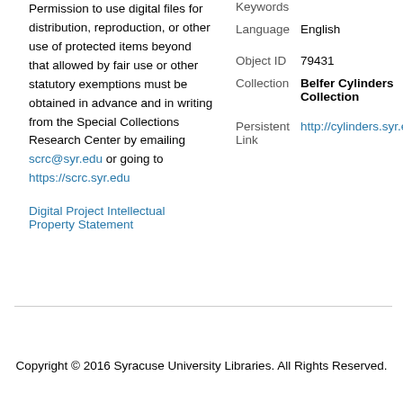Permission to use digital files for distribution, reproduction, or other use of protected items beyond that allowed by fair use or other statutory exemptions must be obtained in advance and in writing from the Special Collections Research Center by emailing scrc@syr.edu or going to https://scrc.syr.edu
Digital Project Intellectual Property Statement
Keywords
Language English
Object ID 79431
Collection Belfer Cylinders Collection
Persistent Link http://cylinders.syr.edu/p/belfer/belfer_cylinders.79431
Copyright © 2016 Syracuse University Libraries. All Rights Reserved.